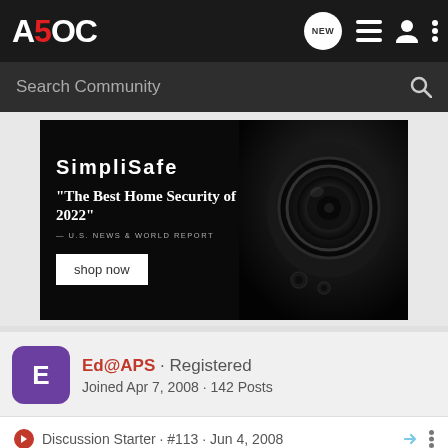A5OC · Search Community
[Figure (photo): SimpliSafe advertisement: 'The Best Home Security of 2022' – U.S. News & World Report, with a shop now button and a security camera image]
Ed@APS · Registered
Joined Apr 7, 2008 · 142 Posts
Discussion Starter · #113 · Jun 4, 2008
Guys